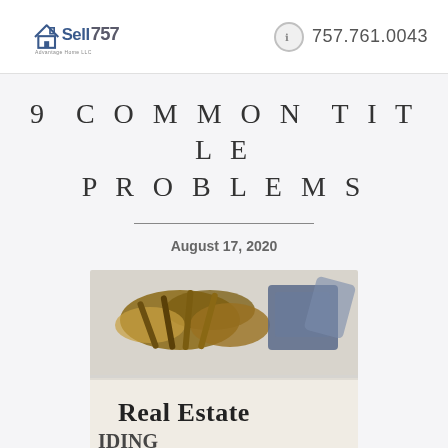Sell757 | 757.761.0043
9 COMMON TITLE PROBLEMS
August 17, 2020
[Figure (photo): Keys and documents including a 'Real Estate' paper on a desk]